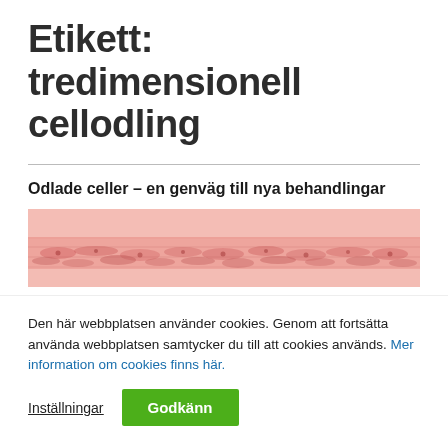Etikett: tredimensionell cellodling
Odlade celler – en genväg till nya behandlingar
[Figure (photo): Microscopic cross-section image of cultured cells showing layered tissue with pink/red coloring against a light pink background]
Den här webbplatsen använder cookies. Genom att fortsätta använda webbplatsen samtycker du till att cookies används. Mer information om cookies finns här.
Inställningar  Godkänn